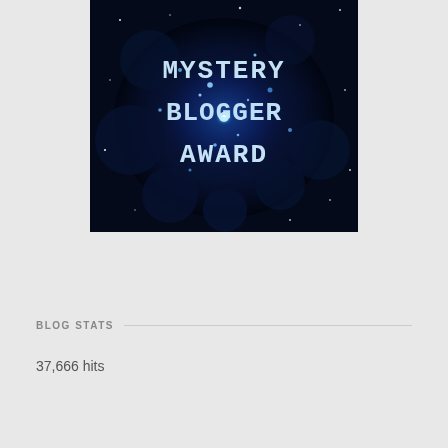[Figure (illustration): Mystery Blogger Award image — dark starry/nebula background with text 'MYSTERY BLOGGER AWARD' in typewriter-style white letters]
BLOG STATS
37,666 hits